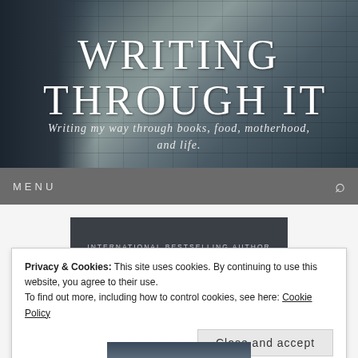[Figure (photo): Website header with stone wall/castle background image featuring a dark turret on the left side. Dark textured stone wall fills most of the header.]
WRITING THROUGH IT
Writing my way through books, food, motherhood, and life.
MENU
INTERNATIONAL BESTSELLING AUTHOR OF THE ORIGINAL SINNERS SERIES
Privacy & Cookies: This site uses cookies. By continuing to use this website, you agree to their use.
To find out more, including how to control cookies, see here: Cookie Policy
Close and accept